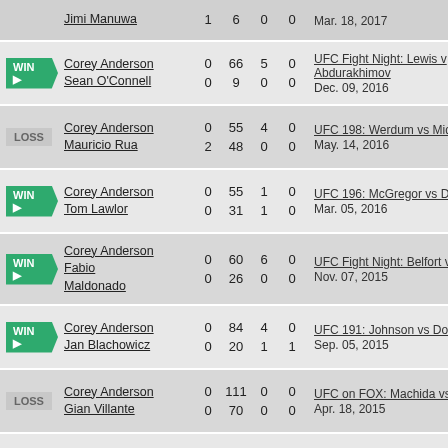| Result | Fighter | Stat1 | Stat2 | Stat3 | Stat4 | Event | Date |
| --- | --- | --- | --- | --- | --- | --- | --- |
|  | Jimi Manuwa | 1 | 6 | 0 | 0 |  | Mar. 18, 2017 |
| WIN | Corey Anderson | 0 | 66 | 5 | 0 | UFC Fight Night: Lewis v Abdurakhimov | Dec. 09, 2016 |
| WIN | Sean O'Connell | 0 | 9 | 0 | 0 |  |  |
| LOSS | Corey Anderson | 0 | 55 | 4 | 0 | UFC 198: Werdum vs Mic | May. 14, 2016 |
| LOSS | Mauricio Rua | 2 | 48 | 0 | 0 |  |  |
| WIN | Corey Anderson | 0 | 55 | 1 | 0 | UFC 196: McGregor vs D | Mar. 05, 2016 |
| WIN | Tom Lawlor | 0 | 31 | 1 | 0 |  |  |
| WIN | Corey Anderson / Fabio Maldonado | 0 / 0 | 60 / 26 | 6 / 0 | 0 / 0 | UFC Fight Night: Belfort v | Nov. 07, 2015 |
| WIN | Corey Anderson | 0 | 84 | 4 | 0 | UFC 191: Johnson vs Doc | Sep. 05, 2015 |
| WIN | Jan Blachowicz | 0 | 20 | 1 | 1 |  |  |
| LOSS | Corey Anderson | 0 | 111 | 0 | 0 | UFC on FOX: Machida vs | Apr. 18, 2015 |
| LOSS | Gian Villante | 0 | 70 | 0 | 0 |  |  |
| WIN | Corey Anderson | 0 | 45 | 7 | 0 | UFC 181: Hendricks vs L | Dec. 06, 2014 |
| WIN | Justin Jones | 0 | 28 | 0 | 1 |  |  |
| WIN | Corey Anderson | 0 | 24 | 2 | 0 | The Ultimate Fighter: Tea |  |